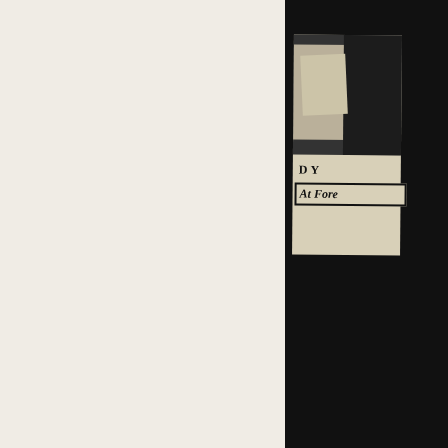[Figure (photo): Scanned newspaper clipping showing partial photograph and partial headline text 'DY' and 'At Fore' in a box, surrounded by dark background. Clipping is partially visible/cropped.]
[Figure (photo): Scanned newspaper clipping showing a partial photograph at top, headline 'DYLAN ST...' and boxed subheadline 'At Forest Hills-', large headline 'Mods, Ro...' and 'New Thi...' (Mods, Rockers, New Thing), byline 'by Jack Newfield', and opening text 'Twenty-four year old ... have been']
DYLAN ST
At Forest Hills-
Mods, Ro
New Thi
by Jack Newfield
Twenty-four year old ... have been